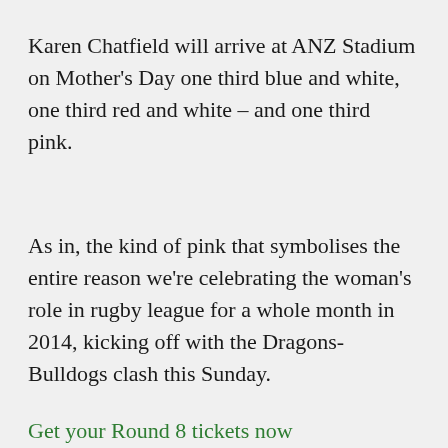Karen Chatfield will arrive at ANZ Stadium on Mother's Day one third blue and white, one third red and white – and one third pink.
As in, the kind of pink that symbolises the entire reason we're celebrating the woman's role in rugby league for a whole month in 2014, kicking off with the Dragons-Bulldogs clash this Sunday.
Get your Round 8 tickets now